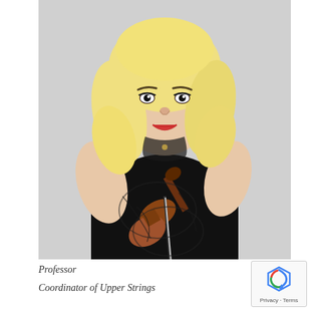[Figure (photo): A woman with blonde hair wearing a black sleeveless lace dress, holding a violin and bow, smiling at the camera against a light gray background.]
Professor
Coordinator of Upper Strings